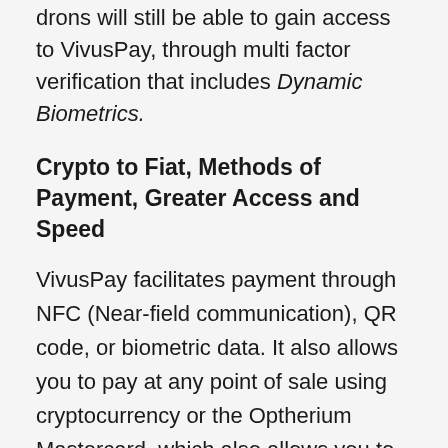drons will still be able to gain access to VivusPay, through multi factor verification that includes Dynamic Biometrics.
Crypto to Fiat, Methods of Payment, Greater Access and Speed
VivusPay facilitates payment through NFC (Near-field communication), QR code, or biometric data. It also allows you to pay at any point of sale using cryptocurrency or the Optherium Mastercard, which also allows you to withdraw from any ATM in the world, instantly exchanging from crypto to fiat currencies as you do it. This makes crypto's lack of usability a thing of the past. What's